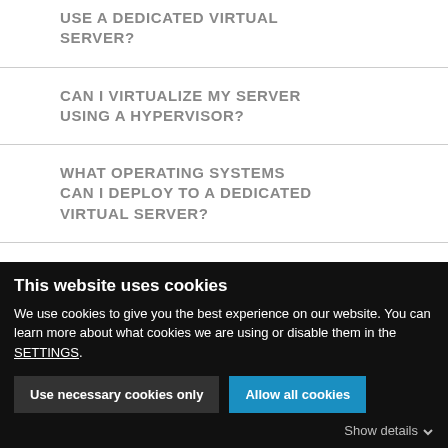USE A DEDICATED VIRTUAL SERVER?
CAN I VIRTUALIZE MY SERVER USING A HYPERVISOR?
WHAT OPERATING SYSTEMS CAN I DEPLOY TO A DEDICATED VIRTUAL SERVER?
WHAT SECURITY MEASURES
This website uses cookies
We use cookies to give you the best experience on our website. You can learn more about what cookies we are using or disable them in the SETTINGS.
Use necessary cookies only
Allow all cookies
Show details